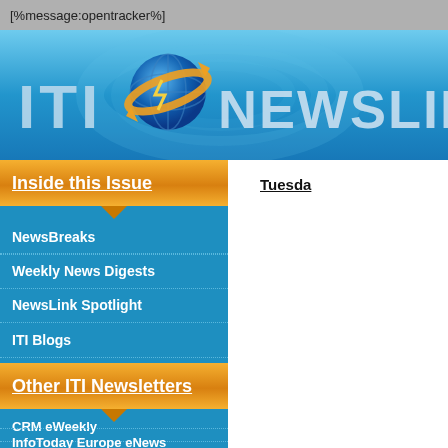[%message:opentracker%]
[Figure (logo): ITI NewsLink logo banner with globe icon on blue gradient background]
Inside this Issue
NewsBreaks
Weekly News Digests
NewsLink Spotlight
ITI Blogs
Tuesday
Other ITI Newsletters
CRM eWeekly
InfoToday Europe eNews
KMWorld Newslinks